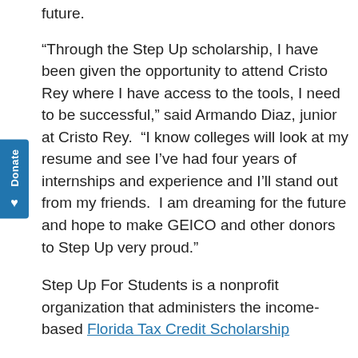future.
“Through the Step Up scholarship, I have been given the opportunity to attend Cristo Rey where I have access to the tools, I need to be successful,” said Armando Diaz, junior at Cristo Rey.  “I know colleges will look at my resume and see I’ve had four years of internships and experience and I’ll stand out from my friends.  I am dreaming for the future and hope to make GEICO and other donors to Step Up very proud.”
Step Up For Students is a nonprofit organization that administers the income-based Florida Tax Credit Scholarship